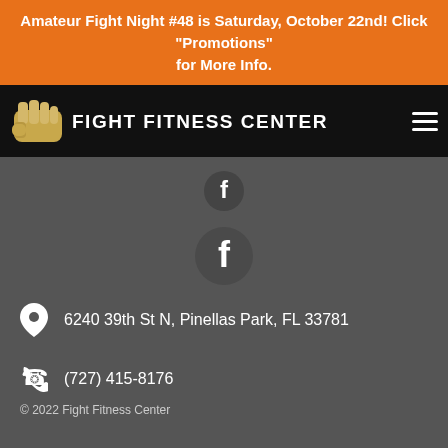Amateur Fight Night #48 is Saturday, October 22nd! Click "Promotions" for More Info.
[Figure (logo): Fight Fitness Center logo with fist icon and text FIGHT FITNESS CENTER on black background with hamburger menu]
[Figure (logo): Small Facebook icon button (dark circle with white F)]
[Figure (logo): Larger Facebook icon button (dark circle with white F)]
6240 39th St N, Pinellas Park, FL 33781
(727) 415-8176
© 2022 Fight Fitness Center